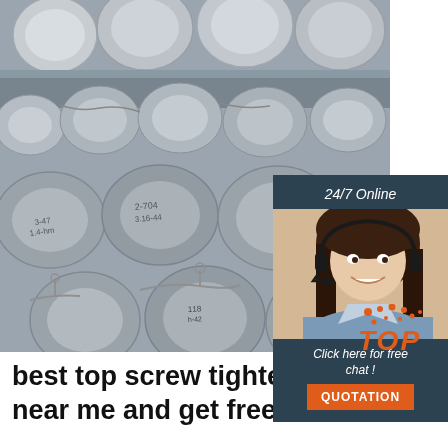[Figure (photo): Stack of steel rods/bars bundled with wire ties, shown from the ends, with labels written on them]
[Figure (photo): 24/7 Online chat widget with photo of smiling woman with headset, dark teal background, 'Click here for free chat!' text, and orange QUOTATION button]
[Figure (logo): TOP logo with orange dots pattern above orange italic bold text 'TOP']
best top screw tightening hand near me and get free